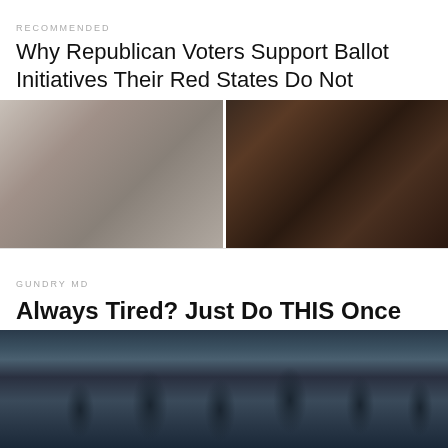RECOMMENDED
Why Republican Voters Support Ballot Initiatives Their Red States Do Not
[Figure (photo): Split image: left half shows a close-up of a hand/fist in grayscale tones; right half shows a dark bowl of food from above]
GUNDRY MD
Always Tired? Just Do THIS Once Each Day (Takes About 2 Minutes)
[Figure (photo): Group photo of approximately 12 people wearing dark navy SmartAsset branded t-shirts standing on a city street]